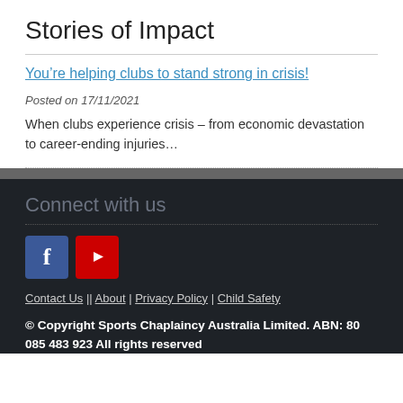Stories of Impact
You’re helping clubs to stand strong in crisis!
Posted on 17/11/2021
When clubs experience crisis – from economic devastation to career-ending injuries…
Connect with us
Contact Us | About | Privacy Policy | Child Safety
© Copyright Sports Chaplaincy Australia Limited. ABN: 80 085 483 923 All rights reserved